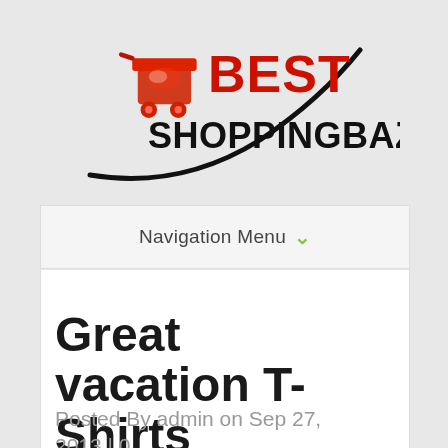[Figure (logo): Best ShoppingBazar logo with a red shopping cart icon and a black swoosh curve underneath, bold red text 'BEST' and bold black text 'SHOPPINGBAZAR']
Navigation Menu ∨
Great vacation T-Shirts
Posted By admin on Sep 27, 2013 | 0